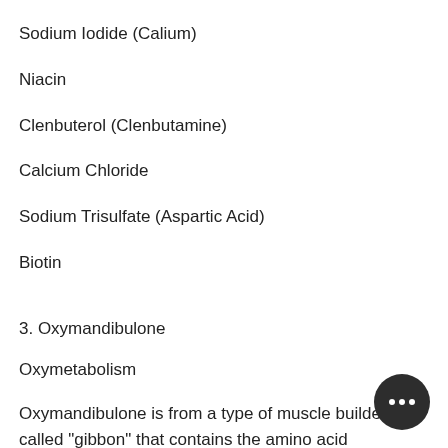Sodium Iodide (Calium)
Niacin
Clenbuterol (Clenbutamine)
Calcium Chloride
Sodium Trisulfate (Aspartic Acid)
Biotin
3. Oxymandibulone
Oxymetabolism
Oxymandibulone is from a type of muscle builder called "gibbon" that contains the amino acid leucine, best legal muscle supplement8.